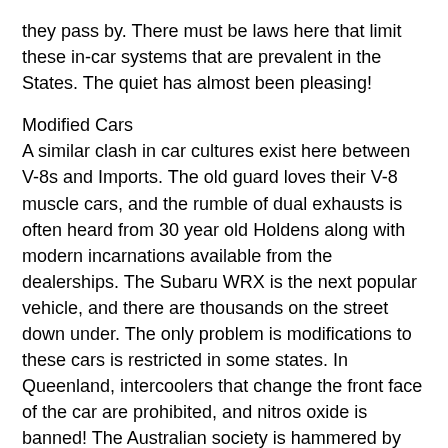they pass by. There must be laws here that limit these in-car systems that are prevalent in the States. The quiet has almost been pleasing!
Modified Cars
A similar clash in car cultures exist here between V-8s and Imports. The old guard loves their V-8 muscle cars, and the rumble of dual exhausts is often heard from 30 year old Holdens along with modern incarnations available from the dealerships. The Subaru WRX is the next popular vehicle, and there are thousands on the street down under. The only problem is modifications to these cars is restricted in some states. In Queenland, intercoolers that change the front face of the car are prohibited, and nitros oxide is banned! The Australian society is hammered by the government to believe speed kills, and any form of speed modification must mean death, so it's frowned upon.
Speeding
Australia is under the strangle hold of the Speed Camera. These unmanned radar cameras have permanent and temporary mounting positions on the sides of the road, and force drivers to obey the speed limits. If you're caught speeding with one of these cameras you'll receive a ticket